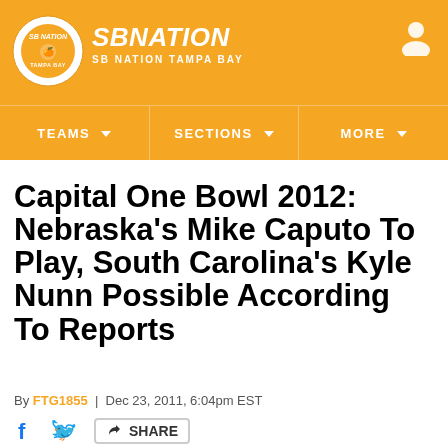SBNATION / SB NATION TAMPA BAY
TEAMS | SECTIONS | MORE
Capital One Bowl 2012: Nebraska's Mike Caputo To Play, South Carolina's Kyle Nunn Possible According To Reports
By FTG1855 | Dec 23, 2011, 6:04pm EST